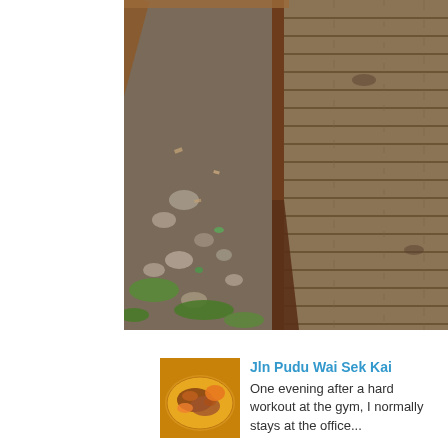[Figure (photo): Overhead view of old wooden boardwalk planks on the right side and gravel/rubble ground with green grass patches and scattered stones on the left, separated by a rusty metal beam/rail running diagonally. An angled rusty metal post is visible in the center.]
[Figure (photo): Small thumbnail image of a food dish — appears to be grilled or roasted meat/chicken on a plate with orange/yellow coloring.]
Jln Pudu Wai Sek Kai
One evening after a hard workout at the gym, I normally stays at the office...